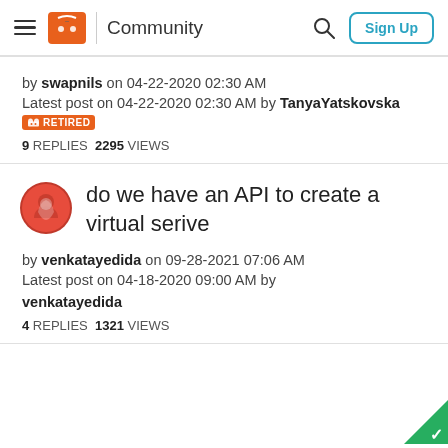Community | Sign Up
by swapnils on 04-22-2020 02:30 AM
Latest post on 04-22-2020 02:30 AM by TanyaYatskovska RETIRED
9 REPLIES 2295 VIEWS
do we have an API to create a virtual serive
by venkatayedida on 09-28-2021 07:06 AM
Latest post on 04-18-2020 09:00 AM by venkatayedida
4 REPLIES 1321 VIEWS